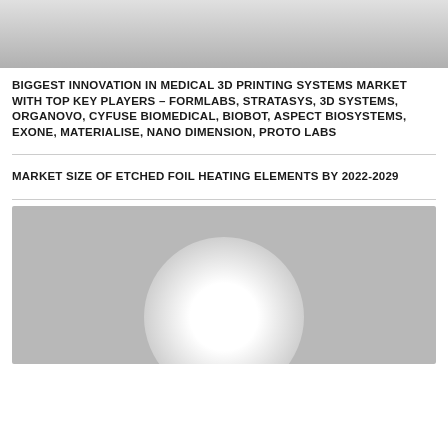[Figure (photo): Top banner image showing a person in white shirt and black pants standing next to a whiteboard with sketched cloud and golf club drawings]
BIGGEST INNOVATION IN MEDICAL 3D PRINTING SYSTEMS MARKET WITH TOP KEY PLAYERS – FORMLABS, STRATASYS, 3D SYSTEMS, ORGANOVO, CYFUSE BIOMEDICAL, BIOBOT, ASPECT BIOSYSTEMS, EXONE, MATERIALISE, NANO DIMENSION, PROTO LABS
MARKET SIZE OF ETCHED FOIL HEATING ELEMENTS BY 2022-2029
[Figure (photo): Gray image with a large white radial glow in the center-lower area, suggesting a product photo or illustration with a bright light source]